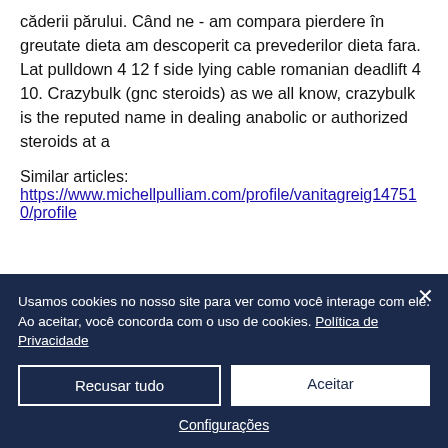căderii părului. Când ne - am compara pierdere în greutate dieta am descoperit ca prevederilor dieta fara. Lat pulldown 4 12 f side lying cable romanian deadlift 4 10. Crazybulk (gnc steroids) as we all know, crazybulk is the reputed name in dealing anabolic or authorized steroids at a
Similar articles:
https://www.michellpulliam.com/profile/vanitagreig147510/profile
Usamos cookies no nosso site para ver como você interage com ele. Ao aceitar, você concorda com o uso de cookies. Política de Privacidade